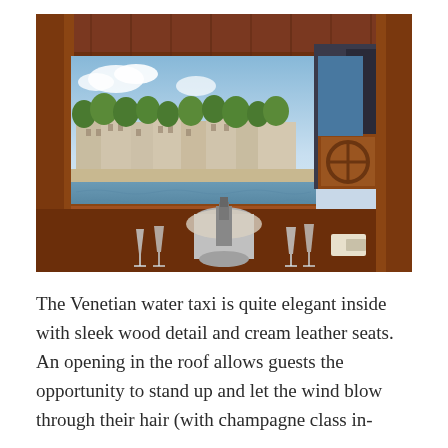[Figure (photo): Interior view of a Venetian water taxi with mahogany wood paneling and window frame. Through the large open window, the Seine river and Paris cityscape with trees and Haussmann buildings are visible in bright sunlight. In the foreground, champagne glasses, an ice bucket with a bottle, and table settings are arranged on a table. A person in dark clothing is visible through a smaller window on the right side, steering the boat.]
The Venetian water taxi is quite elegant inside with sleek wood detail and cream leather seats. An opening in the roof allows guests the opportunity to stand up and let the wind blow through their hair (with champagne class in-